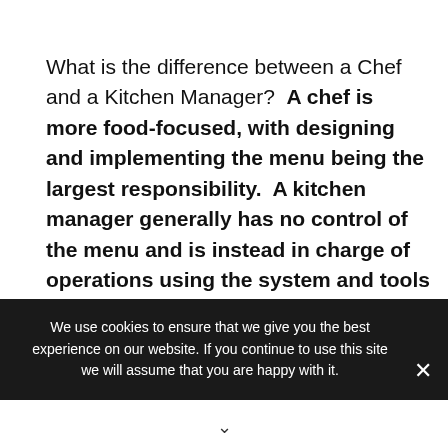What is the difference between a Chef and a Kitchen Manager?  A chef is more food-focused, with designing and implementing the menu being the largest responsibility.  A kitchen manager generally has no control of the menu and is instead in charge of operations using the system and tools that are already in place.
We use cookies to ensure that we give you the best experience on our website. If you continue to use this site we will assume that you are happy with it.